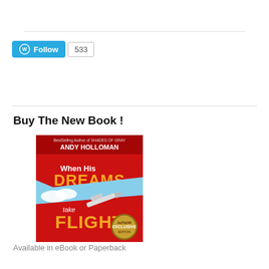[Figure (other): WordPress Follow button with count 533]
Buy The New Book !
[Figure (illustration): Book cover: 'When His Dreams take FLIGHT' by Andy Holloman, BestSelling Author of SHADES OF GRAY. Red and blue sky background with airplane. 'Exclusive' badge.]
Available in eBook or Paperback